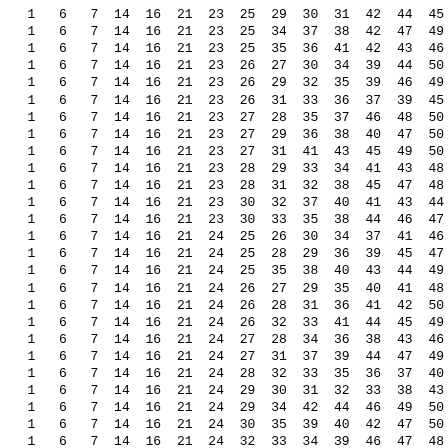| 1 | 6 | 7 | 14 | 16 | 21 | 23 | 25 | 29 | 30 | 31 | 42 | 44 | 45 |
| 1 | 6 | 7 | 14 | 16 | 21 | 23 | 25 | 34 | 37 | 38 | 42 | 47 | 49 |
| 1 | 6 | 7 | 14 | 16 | 21 | 23 | 25 | 35 | 36 | 41 | 42 | 43 | 46 |
| 1 | 6 | 7 | 14 | 16 | 21 | 23 | 26 | 27 | 30 | 34 | 39 | 44 | 50 |
| 1 | 6 | 7 | 14 | 16 | 21 | 23 | 26 | 29 | 32 | 35 | 39 | 46 | 49 |
| 1 | 6 | 7 | 14 | 16 | 21 | 23 | 26 | 31 | 33 | 36 | 37 | 39 | 45 |
| 1 | 6 | 7 | 14 | 16 | 21 | 23 | 27 | 28 | 35 | 37 | 46 | 48 | 50 |
| 1 | 6 | 7 | 14 | 16 | 21 | 23 | 27 | 29 | 36 | 38 | 40 | 47 | 50 |
| 1 | 6 | 7 | 14 | 16 | 21 | 23 | 27 | 31 | 41 | 43 | 45 | 49 | 50 |
| 1 | 6 | 7 | 14 | 16 | 21 | 23 | 28 | 29 | 33 | 34 | 41 | 43 | 48 |
| 1 | 6 | 7 | 14 | 16 | 21 | 23 | 28 | 31 | 32 | 38 | 45 | 47 | 48 |
| 1 | 6 | 7 | 14 | 16 | 21 | 23 | 30 | 32 | 37 | 40 | 41 | 43 | 44 |
| 1 | 6 | 7 | 14 | 16 | 21 | 23 | 30 | 33 | 35 | 38 | 44 | 46 | 47 |
| 1 | 6 | 7 | 14 | 16 | 21 | 24 | 25 | 26 | 30 | 34 | 37 | 41 | 46 |
| 1 | 6 | 7 | 14 | 16 | 21 | 24 | 25 | 28 | 29 | 36 | 39 | 45 | 47 |
| 1 | 6 | 7 | 14 | 16 | 21 | 24 | 25 | 35 | 38 | 40 | 43 | 44 | 49 |
| 1 | 6 | 7 | 14 | 16 | 21 | 24 | 26 | 27 | 29 | 35 | 40 | 41 | 48 |
| 1 | 6 | 7 | 14 | 16 | 21 | 24 | 26 | 28 | 31 | 36 | 41 | 42 | 50 |
| 1 | 6 | 7 | 14 | 16 | 21 | 24 | 26 | 32 | 33 | 41 | 44 | 45 | 49 |
| 1 | 6 | 7 | 14 | 16 | 21 | 24 | 27 | 28 | 34 | 36 | 38 | 43 | 46 |
| 1 | 6 | 7 | 14 | 16 | 21 | 24 | 27 | 31 | 37 | 39 | 44 | 47 | 49 |
| 1 | 6 | 7 | 14 | 16 | 21 | 24 | 28 | 32 | 33 | 35 | 36 | 37 | 40 |
| 1 | 6 | 7 | 14 | 16 | 21 | 24 | 29 | 30 | 31 | 32 | 33 | 38 | 43 |
| 1 | 6 | 7 | 14 | 16 | 21 | 24 | 29 | 34 | 42 | 44 | 46 | 49 | 50 |
| 1 | 6 | 7 | 14 | 16 | 21 | 24 | 30 | 35 | 39 | 40 | 42 | 47 | 50 |
| 1 | 6 | 7 | 14 | 16 | 21 | 24 | 32 | 33 | 34 | 39 | 46 | 47 | 48 |
| 1 | 6 | 7 | 14 | 16 | 21 | 24 | 37 | 38 | 42 | 43 | 45 | 48 | 50 |
| 1 | 6 | 7 | 14 | 16 | 21 | 25 | 26 | 27 | 31 | 32 | 36 | 38 | 49 |
| 1 | 6 | 7 | 14 | 16 | 21 | 25 | 26 | 29 | 33 | 35 | 43 | 45 | 50 |
| 1 | 6 | 7 | 14 | 16 | 21 | 25 | 27 | 28 | 32 | 39 | 41 | 44 | 46 |